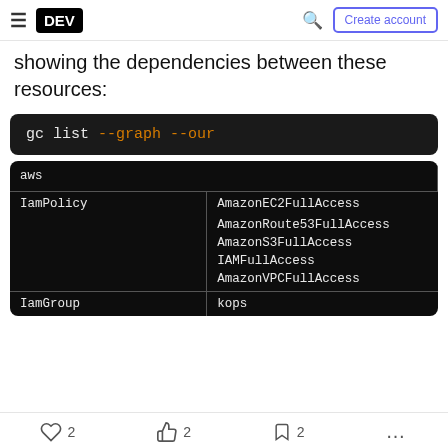DEV | Create account
showing the dependencies between these resources:
gc list --graph --our
|  |  |
| --- | --- |
| aws |  |
| IamPolicy | AmazonEC2FullAccess |
|  | AmazonRoute53FullAccess |
|  | AmazonS3FullAccess |
|  | IAMFullAccess |
|  | AmazonVPCFullAccess |
| IamGroup | kops |
2  2  2  ...